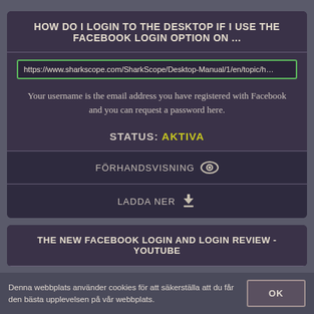HOW DO I LOGIN TO THE DESKTOP IF I USE THE FACEBOOK LOGIN OPTION ON ...
https://www.sharkscope.com/SharkScope/Desktop-Manual/1/en/topic/h...
Your username is the email address you have registered with Facebook and you can request a password here.
STATUS: AKTIVA
FÖRHANDSVISNING 👁
LADDA NER ⬇
THE NEW FACEBOOK LOGIN AND LOGIN REVIEW - YOUTUBE
Denna webbplats använder cookies för att säkerställa att du får den bästa upplevelsen på vår webbplats.